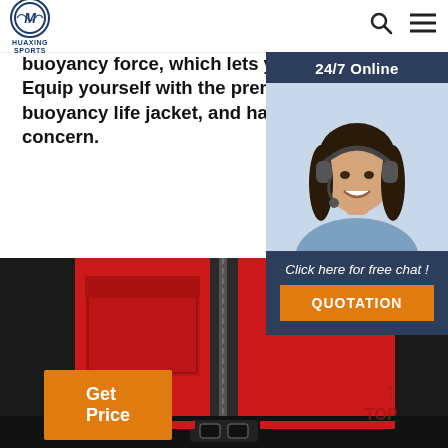HUAXING SPORTS logo + search and menu icons
buoyancy force, which lets you float to the surface easily. Equip yourself with the premium adjustable neoprene buoyancy life jacket, and have fun without any safety concern.
Get Price
[Figure (photo): Customer service agent widget: dark navy panel with '24/7 Online' header, photo of smiling woman with headset, 'Click here for free chat!' text, and orange 'QUOTATION' button]
[Figure (photo): Close-up photo of a red and black neoprene buoyancy life jacket showing zipper and pocket detail, with a buckle visible at the bottom]